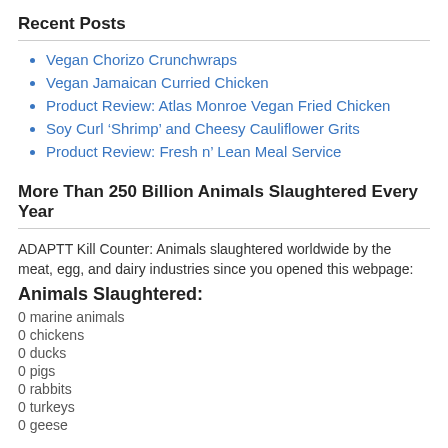Recent Posts
Vegan Chorizo Crunchwraps
Vegan Jamaican Curried Chicken
Product Review: Atlas Monroe Vegan Fried Chicken
Soy Curl ‘Shrimp’ and Cheesy Cauliflower Grits
Product Review: Fresh n’ Lean Meal Service
More Than 250 Billion Animals Slaughtered Every Year
ADAPTT Kill Counter: Animals slaughtered worldwide by the meat, egg, and dairy industries since you opened this webpage:
Animals Slaughtered:
0 marine animals
0 chickens
0 ducks
0 pigs
0 rabbits
0 turkeys
0 geese